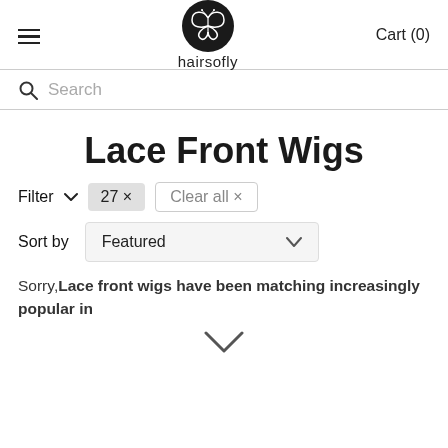hairsofly — Cart (0)
Search
Lace Front Wigs
Filter  27 ×  Clear all ×
Sort by  Featured
Sorry, Lace front wigs have been matching increasingly popular in
[Figure (other): Expand chevron arrow pointing down]